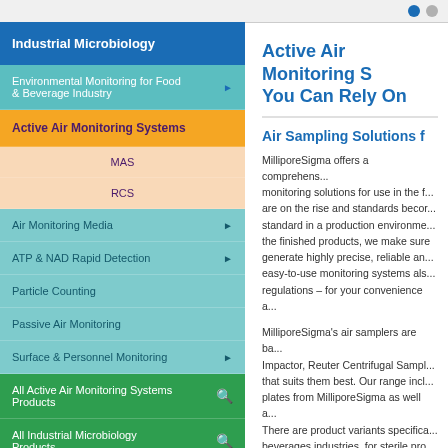Navigation page header with dot navigation
Industrial Microbiology
Environmental Monitoring for Food & Beverage Industry
Active Air Monitoring Systems
MAS
RCS
Air Monitoring Media
ATP & NAD Rapid Detection
Particle Counting
Passive Air Monitoring
Surface & Personnel Monitoring
All Active Air Monitoring Systems Products
All Industrial Microbiology Products
Active Air Monitoring Systems You Can Rely On
Air Sampling Solutions for
MilliporeSigma offers a comprehensive monitoring solutions for use in the f... are on the rise and standards beco... standard in a production environme... the finished products, we make sure generate highly precise, reliable an... easy-to-use monitoring systems als... regulations – for your convenience a...
MilliporeSigma's air samplers are ba... Impactor, Reuter Centrifugal Sampl... that suits them best. Our range incl... plates from MilliporeSigma as well a... There are product variants specifica... beverages industries, for sterile pro... areas and for monitoring of compres...